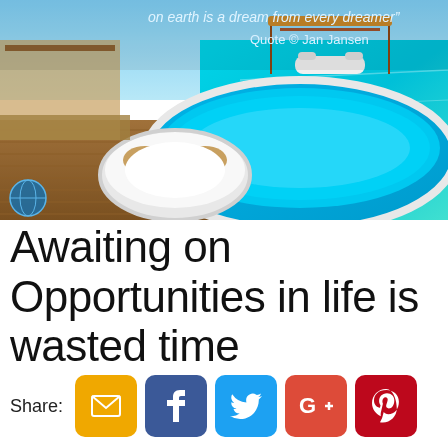[Figure (photo): Luxury resort photo with infinity pool overlooking turquoise ocean, round white daybed on wooden deck, with text overlay: 'on earth is a dream from every dreamer" Quote © Jan Jansen']
Awaiting on Opportunities in life is wasted time
Share: [email] [facebook] [twitter] [google+] [pinterest] [linkedin] [share]